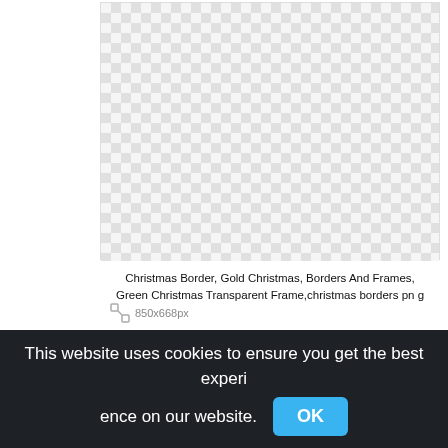[Figure (other): A transparent/checkerboard image placeholder showing a Christmas border PNG image preview with alternating light grey and white squares indicating transparency.]
Christmas Border, Gold Christmas, Borders And Frames, Green Christmas Transparent Frame,christmas borders png
850x668px
This website uses cookies to ensure you get the best experience on our website.